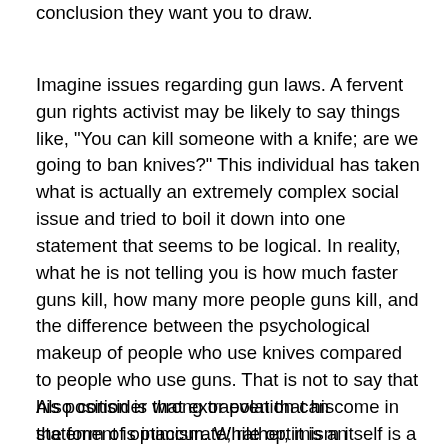conclusion they want you to draw.
Imagine issues regarding gun laws. A fervent gun rights activist may be likely to say things like, "You can kill someone with a knife; are we going to ban knives?" This individual has taken what is actually an extremely complex social issue and tried to boil it down into one statement that seems to be logical. In reality, what he is not telling you is how much faster guns kill, how many more people guns kill, and the difference between the psychological makeup of people who use knives compared to people who use guns. That is not to say that his position is wrong or even that his statement is inaccurate; rather, it is an incomplete statement based on ignoring the complexity of the issue. No matter how good it sounds, if a bumper sticker seems to summarize a position on a complex social issue, it usually is too good to be true.
Also consider that extrapolation can come in the form of optimism. While optimism itself is a great thing, we